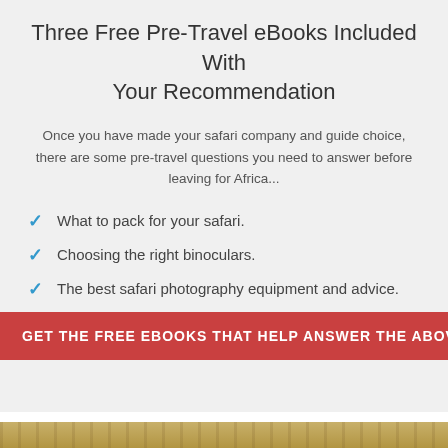Three Free Pre-Travel eBooks Included With Your Recommendation
Once you have made your safari company and guide choice, there are some pre-travel questions you need to answer before leaving for Africa...
What to pack for your safari.
Choosing the right binoculars.
The best safari photography equipment and advice.
GET THE FREE EBOOKS THAT HELP ANSWER THE ABOVE QUESTI…
[Figure (photo): Safari landscape photo showing dry grassland terrain]